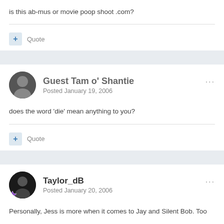is this ab-mus or movie poop shoot .com?
Quote
Guest Tam o' Shantie
Posted January 19, 2006
does the word 'die' mean anything to you?
Quote
Taylor_dB
Posted January 20, 2006
Personally, Jess is more when it comes to Jay and Silent Bob. Too